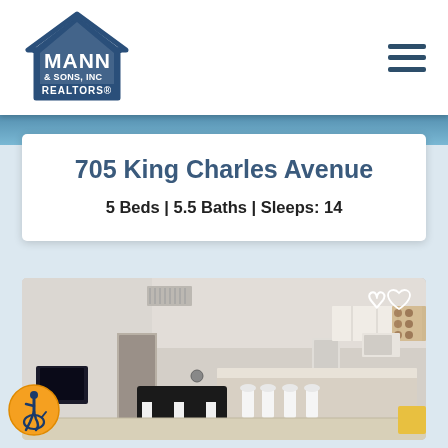[Figure (logo): Mann & Sons Inc Realtors logo with house icon]
705 King Charles Avenue
5 Beds | 5.5 Baths | Sleeps: 14
[Figure (photo): Interior photo of a vacation rental property showing open kitchen with bar seating, striped armchair, and living area]